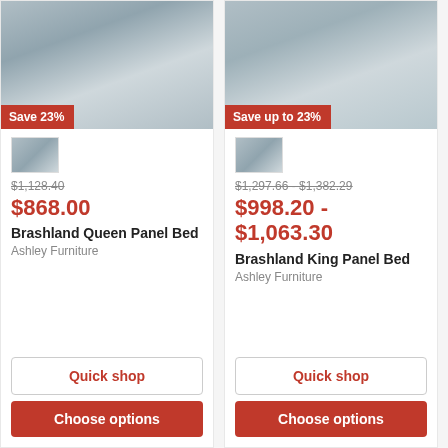[Figure (photo): Product photo of Brashland Queen Panel Bed, whitewashed wood headboard with X-pattern, neutral bedding, blue-gray wall background]
Save 23%
[Figure (photo): Thumbnail of Brashland Queen Panel Bed]
$1,128.40
$868.00
Brashland Queen Panel Bed
Ashley Furniture
Quick shop
Choose options
[Figure (photo): Product photo of Brashland King Panel Bed, whitewashed wood with barn-door style footboard, neutral bedding]
Save up to 23%
[Figure (photo): Thumbnail of Brashland King Panel Bed]
$1,297.66 - $1,382.29
$998.20 - $1,063.30
Brashland King Panel Bed
Ashley Furniture
Quick shop
Choose options